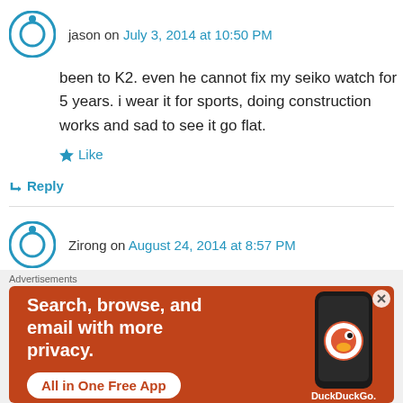jason on July 3, 2014 at 10:50 PM
been to K2. even he cannot fix my seiko watch for 5 years. i wear it for sports, doing construction works and sad to see it go flat.
Like
↳ Reply
Zirong on August 24, 2014 at 8:57 PM
Hi, after reading your blog, i felt so inspired to get a nice Seiko watch! Hence i head down to
[Figure (screenshot): DuckDuckGo advertisement banner: orange background, text 'Search, browse, and email with more privacy. All in One Free App' with DuckDuckGo logo and phone mockup]